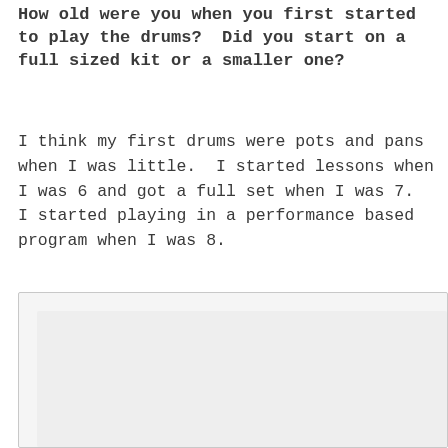How old were you when you first started to play the drums? Did you start on a full sized kit or a smaller one?
I think my first drums were pots and pans when I was little. I started lessons when I was 6 and got a full set when I was 7. I started playing in a performance based program when I was 8.
[Figure (other): A blank/empty rectangular box with a light gray background, representing an empty content or image placeholder area.]